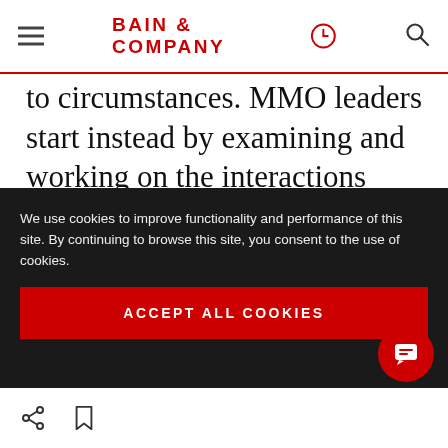BAIN & COMPANY
to circumstances. MMO leaders start instead by examining and working on the interactions among analysts, marketers, IT, agency partners and other vendors, all disciplined through regular reviews of performance. A practical formula emerges to guide this engagement and collaboration: “Shared facts + shared logic +
We use cookies to improve functionality and performance of this site. By continuing to browse this site, you consent to the use of cookies.
ACCEPT ALL COOKIES